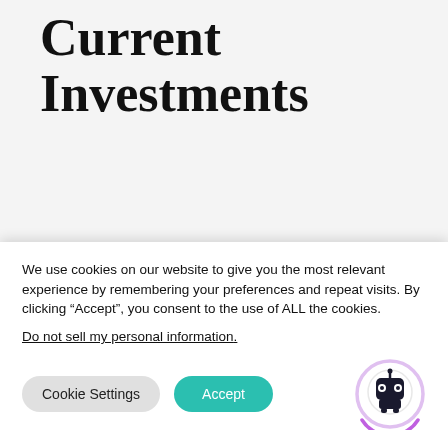Current Investments
You now have investments listed for your short term goals (Cornerstone 3) and long term goals (Cornerstone 4).
We use cookies on our website to give you the most relevant experience by remembering your preferences and repeat visits. By clicking “Accept”, you consent to the use of ALL the cookies.
Do not sell my personal information.